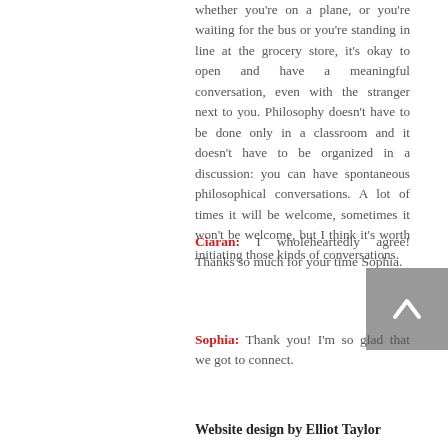whether you're on a plane, or you're waiting for the bus or you're standing in line at the grocery store, it's okay to open and have a meaningful conversation, even with the stranger next to you. Philosophy doesn't have to be done only in a classroom and it doesn't have to be organized in a discussion: you can have spontaneous philosophical conversations. A lot of times it will be welcome, sometimes it won't be welcome, but I think it's worth initiating those kinds of conversations.
Ciaran: I wholeheartedly agree! Thanks so much for your time Sophia.
Sophia: Thank you! I'm so glad that we got to connect.
Website design by Elliot Taylor